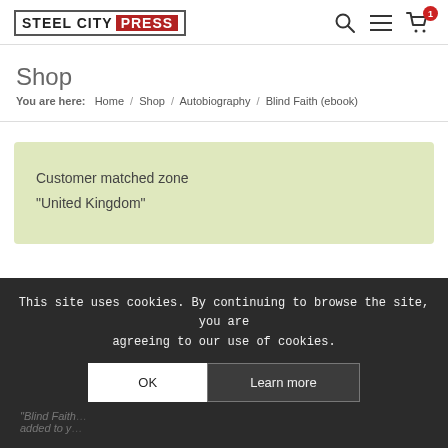[Figure (logo): Steel City Press logo with border, 'STEEL CITY' in dark text and 'PRESS' in white on red background]
Shop
You are here:  Home / Shop / Autobiography / Blind Faith (ebook)
Customer matched zone "United Kingdom"
This site uses cookies. By continuing to browse the site, you are agreeing to our use of cookies.
OK  Learn more